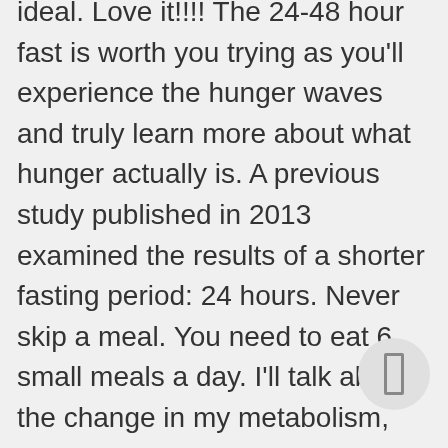ideal. Love it!!!! The 24-48 hour fast is worth you trying as you'll experience the hunger waves and truly learn more about what hunger actually is. A previous study published in 2013 examined the results of a shorter fasting period: 24 hours. Never skip a meal. You need to eat 6 small meals a day. I'll talk about the change in my metabolism, and go over important body changes like glycolysis and ketogenesis. Alternate-day fasting. I'll be water fasting every week Monday and Tuesday. Tired, low energy, just low everything! The stomach as well as our minds, are programmed from an early age to eat three meals a day, regardless if we have burned enough calories to